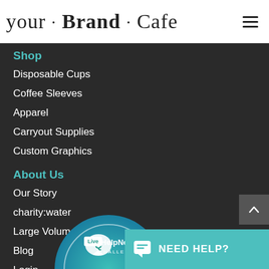your · Brand · Cafe
Shop
Disposable Cups
Coffee Sleeves
Apparel
Carryout Supplies
Custom Graphics
About Us
Our Story
charity:water
Large Volume
Blog
Login
[Figure (logo): Live HelpNow! Challenge circular badge with teal and blue gradient]
NEED HELP?